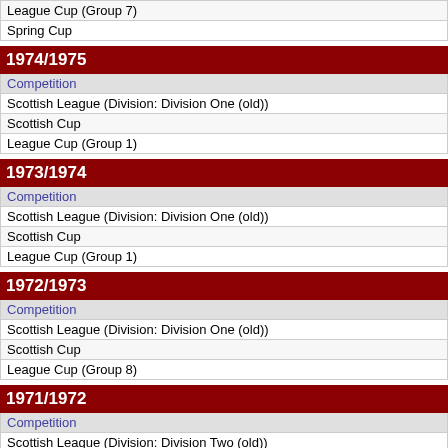| Competition |
| --- |
| League Cup (Group 7) |
| Spring Cup |
1974/1975
| Competition |
| --- |
| Scottish League (Division: Division One (old)) |
| Scottish Cup |
| League Cup (Group 1) |
1973/1974
| Competition |
| --- |
| Scottish League (Division: Division One (old)) |
| Scottish Cup |
| League Cup (Group 1) |
1972/1973
| Competition |
| --- |
| Scottish League (Division: Division One (old)) |
| Scottish Cup |
| League Cup (Group 8) |
1971/1972
| Competition |
| --- |
| Scottish League (Division: Division Two (old)) |
| Scottish Cup |
| League Cup (Group 7) |
| Dryborough Cup |